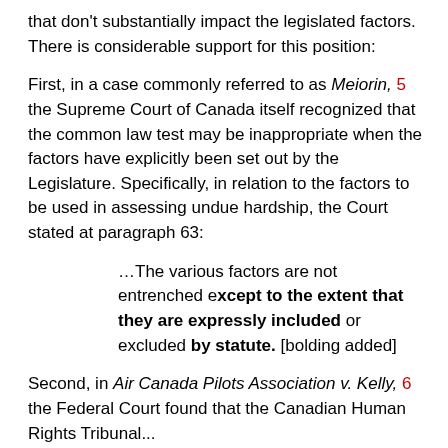that don't substantially impact the legislated factors. There is considerable support for this position:
First, in a case commonly referred to as Meiorin, 5 the Supreme Court of Canada itself recognized that the common law test may be inappropriate when the factors have explicitly been set out by the Legislature. Specifically, in relation to the factors to be used in assessing undue hardship, the Court stated at paragraph 63:
…The various factors are not entrenched except to the extent that they are expressly included or excluded by statute. [bolding added]
Second, in Air Canada Pilots Association v. Kelly, 6 the Federal Court found that the Canadian Human Rights Tribunal...